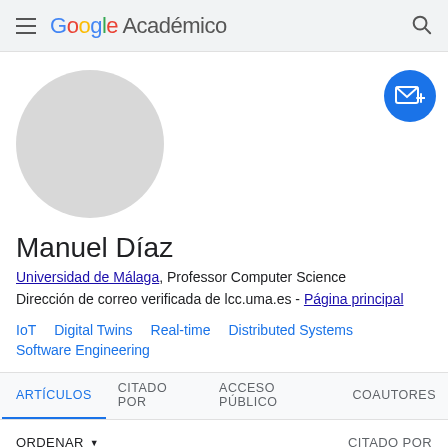Google Académico
[Figure (photo): Default grey avatar circle placeholder for user profile photo]
Manuel Díaz
Universidad de Málaga, Professor Computer Science
Dirección de correo verificada de lcc.uma.es - Página principal
IoT
Digital Twins
Real-time
Distributed Systems
Software Engineering
ARTÍCULOS   CITADO POR   ACCESO PÚBLICO   COAUTORES
ORDENAR ▾   CITADO POR